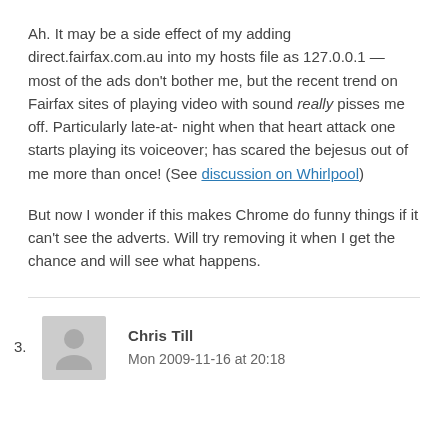Ah. It may be a side effect of my adding direct.fairfax.com.au into my hosts file as 127.0.0.1 — most of the ads don't bother me, but the recent trend on Fairfax sites of playing video with sound really pisses me off. Particularly late-at-night when that heart attack one starts playing its voiceover; has scared the bejesus out of me more than once! (See discussion on Whirlpool)
But now I wonder if this makes Chrome do funny things if it can't see the adverts. Will try removing it when I get the chance and will see what happens.
3.
Chris Till
Mon 2009-11-16 at 20:18